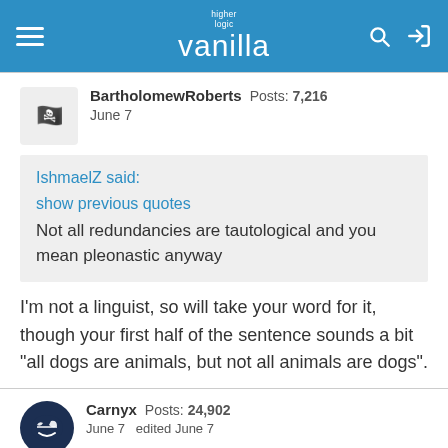higher logic vanilla
BartholomewRoberts  Posts: 7,216
June 7
IshmaelZ said:
show previous quotes
Not all redundancies are tautological and you mean pleonastic anyway
I'm not a linguist, so will take your word for it, though your first half of the sentence sounds a bit "all dogs are animals, but not all animals are dogs".
Carnyx  Posts: 24,902
June 7   edited June 7